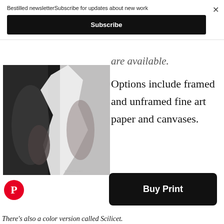Bestilled newsletterSubscribe for updates about new work
Subscribe
[Figure (photo): Black and white photograph of hands holding a torn piece of paper, split composition with dark and light halves, watermark bestilled.com]
are available.
Options include framed and unframed fine art paper and canvases.
[Figure (logo): Pinterest red circular logo icon]
Buy Print
There’s also a color version called Scilicet.